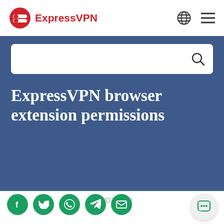ExpressVPN
[Figure (screenshot): ExpressVPN website header with logo, globe icon, and hamburger menu]
[Figure (screenshot): Search box with magnifying glass icon on blue background]
ExpressVPN browser extension permissions
: 08/07/2022
[Figure (infographic): Social share buttons: Facebook, Twitter, WhatsApp, Telegram, Email (green circles), and chat button]